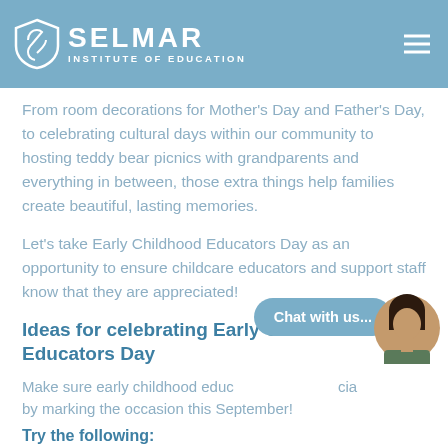SELMAR INSTITUTE OF EDUCATION
From room decorations for Mother's Day and Father's Day, to celebrating cultural days within our community to hosting teddy bear picnics with grandparents and everything in between, those extra things help families create beautiful, lasting memories.
Let's take Early Childhood Educators Day as an opportunity to ensure childcare educators and support staff know that they are appreciated!
Ideas for celebrating Early Childhood Educators Day
Make sure early childhood educators feel appreciated by marking the occasion this September!
Try the following: